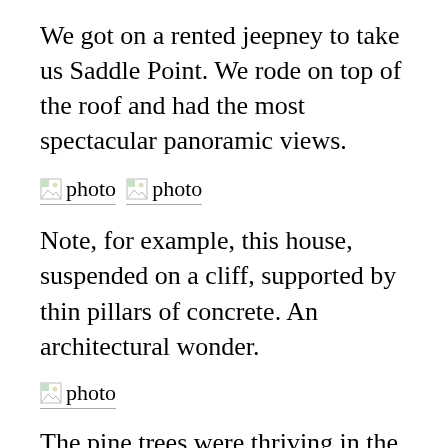We got on a rented jeepney to take us Saddle Point. We rode on top of the roof and had the most spectacular panoramic views.
[Figure (photo): Two photo placeholders side by side (broken image icons with 'photo' text)]
Note, for example, this house, suspended on a cliff, supported by thin pillars of concrete. An architectural wonder.
[Figure (photo): Single photo placeholder (broken image icon with 'photo' text)]
The pine trees were thriving in the colder climate.